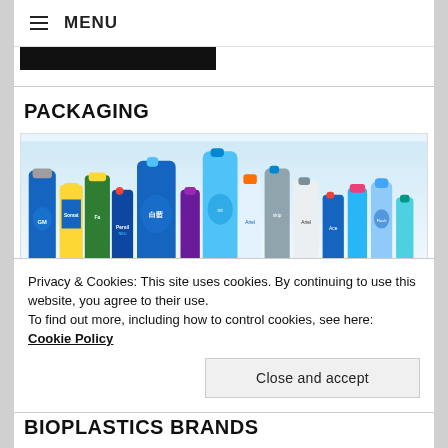≡ MENU
[Figure (other): Black rectangle bar, likely a redacted or placeholder image banner]
PACKAGING
[Figure (photo): Array of colorful cleaning and laundry product bottles including brands like Perwoll, Persil, Ariel, and others arranged together]
Privacy & Cookies: This site uses cookies. By continuing to use this website, you agree to their use.
To find out more, including how to control cookies, see here: Cookie Policy
Close and accept
BIOPLASTICS BRANDS